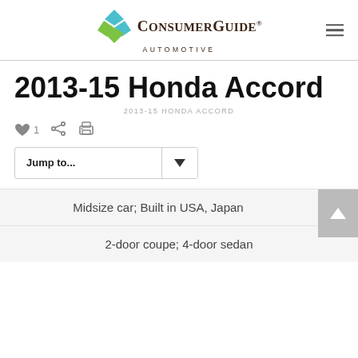[Figure (logo): Consumer Guide Automotive logo with colored diamond/cross icon and serif brand name]
2013-15 Honda Accord
2013-15 HONDA ACCORD
Jump to...
Midsize car; Built in USA, Japan
2-door coupe; 4-door sedan